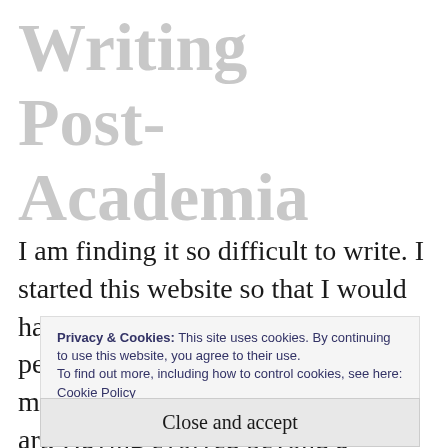Writing Post-Academia
I am finding it so difficult to write. I started this website so that I would have a place to write away from the performative pressures of social media, academia, and commercial art. Having evolved beyond a
Privacy & Cookies: This site uses cookies. By continuing to use this website, you agree to their use.
To find out more, including how to control cookies, see here:
Cookie Policy
Close and accept